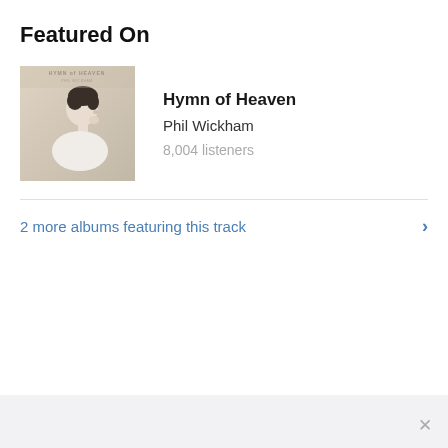Featured On
[Figure (photo): Album cover for Hymn of Heaven by Phil Wickham — a person in profile view with short dark hair wearing a white shirt against a light background, with text overlay 'HYMN of HEAVEN' at the top]
Hymn of Heaven
Phil Wickham
8,004 listeners
2 more albums featuring this track
×